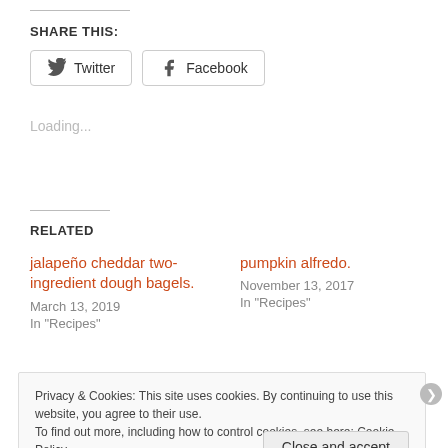SHARE THIS:
Twitter  Facebook
Loading...
RELATED
jalapeño cheddar two-ingredient dough bagels.
March 13, 2019
In "Recipes"
pumpkin alfredo.
November 13, 2017
In "Recipes"
Privacy & Cookies: This site uses cookies. By continuing to use this website, you agree to their use.
To find out more, including how to control cookies, see here: Cookie Policy
Close and accept